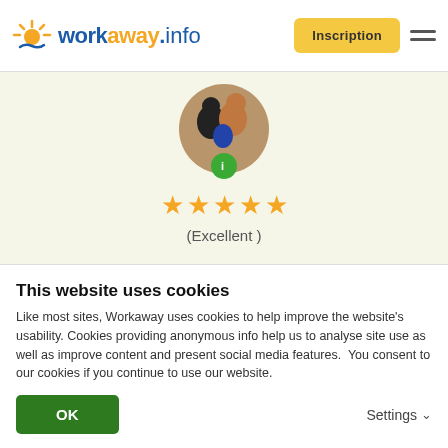[Figure (logo): workaway.info logo with sun icon]
[Figure (photo): Circular profile photo of two people and a child with info badge overlay]
[Figure (other): Five gold stars rating]
(Excellent )
27.06.2017
Laissé par le workawayer (Kasia) pour l'hôte
David and Marta are the owners of piece of paradise on Earth - 5 minutes from the Ocean, with amazing nature,
This website uses cookies
Like most sites, Workaway uses cookies to help improve the website's usability. Cookies providing anonymous info help us to analyse site use as well as improve content and present social media features.  You consent to our cookies if you continue to use our website.
OK
Settings